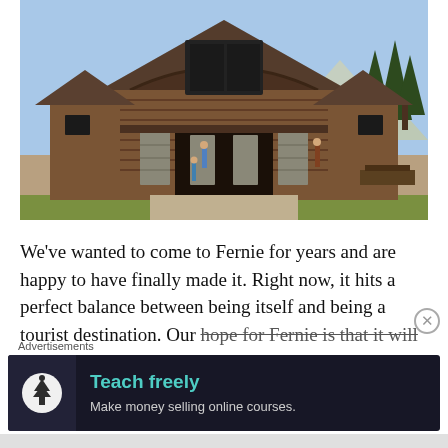[Figure (photo): A large log cabin or lodge-style building with a curved roofline, stone pillars, and wooden beams. Green conifer trees and mountains visible in the background under a blue sky. People visible near the entrance. Appears to be a visitor center or resort in Fernie, BC.]
We've wanted to come to Fernie for years and are happy to have finally made it. Right now, it hits a perfect balance between being itself and being a tourist destination. Our hope for Fernie is that it will not succumb to tourist
Advertisements
[Figure (other): Advertisement banner with dark background. Left side shows a circular icon with a tree/person logo. Right side shows text 'Teach freely' in teal/green and 'Make money selling online courses.' in gray.]